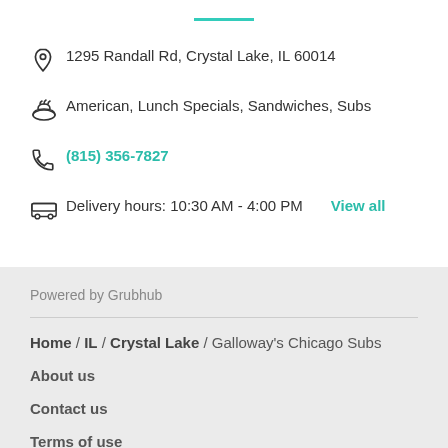1295 Randall Rd, Crystal Lake, IL 60014
American, Lunch Specials, Sandwiches, Subs
(815) 356-7827
Delivery hours: 10:30 AM - 4:00 PM  View all
Powered by Grubhub
Home / IL / Crystal Lake / Galloway's Chicago Subs
About us
Contact us
Terms of use